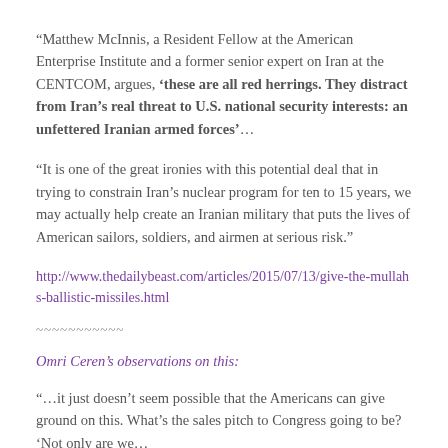“Matthew McInnis, a Resident Fellow at the American Enterprise Institute and a former senior expert on Iran at the CENTCOM, argues, ‘these are all red herrings. They distract from Iran’s real threat to U.S. national security interests: an unfettered Iranian armed forces’…
“It is one of the great ironies with this potential deal that in trying to constrain Iran’s nuclear program for ten to 15 years, we may actually help create an Iranian military that puts the lives of American sailors, soldiers, and airmen at serious risk.”
http://www.thedailybeast.com/articles/2015/07/13/give-the-mullahs-ballistic-missiles.html
~~~~~~~~~~~
Omri Ceren’s observations on this:
“…it just doesn’t seem possible that the Americans can give ground on this. What’s the sales pitch to Congress going to be? ‘Not only are we…